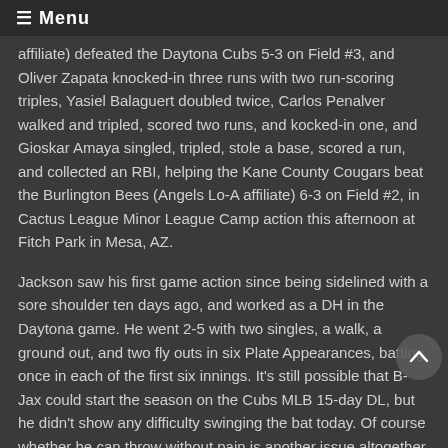☰ Menu
affiliate) defeated the Daytona Cubs 5-3 on Field #3, and Oliver Zapata knocked-in three runs with two run-scoring triples, Yasiel Balaguert doubled twice, Carlos Penalver walked and tripled, scored two runs, and kocked-in one, and Gioskar Amaya singled, tripled, stole a base, scored a run, and collected an RBI, helping the Kane County Cougars beat the Burlington Bees (Angels Lo-A affiliate) 6-3 on Field #2, in Cactus League Minor League Camp action this afternoon at Fitch Park in Mesa, AZ.
Jackson saw his first game action since being sidelined with a sore shoulder ten days ago, and worked as a DH in the Daytona game. He went 2-5 with two singles, a walk, a ground out, and two fly outs in six Plate Appearances, batting once in each of the first six innings. It's still possible that B-Jax could start the season on the Cubs MLB 15-day DL, but he didn't show any difficulty swinging the bat today. Of course whether he can throw without pain is another issue altogether.
Iowa SP Nick Struck was left behind at Fitch Park while his I-Cubs